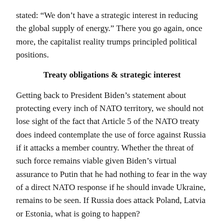stated: “We don’t have a strategic interest in reducing the global supply of energy.” There you go again, once more, the capitalist reality trumps principled political positions.
Treaty obligations & strategic interest
Getting back to President Biden’s statement about protecting every inch of NATO territory, we should not lose sight of the fact that Article 5 of the NATO treaty does indeed contemplate the use of force against Russia if it attacks a member country. Whether the threat of such force remains viable given Biden’s virtual assurance to Putin that he had nothing to fear in the way of a direct NATO response if he should invade Ukraine, remains to be seen. If Russia does attack Poland, Latvia or Estonia, what is going to happen?
And if we consider the implications for Taiwan, we have to start with the fact that there is no similar treaty obligating the US to come to Taiwan’s defense if China should attack. There is no longer a treaty obligating the US to defend Taiwan but the Taiwan Relations Act that obligates the US to provide Taiwan with